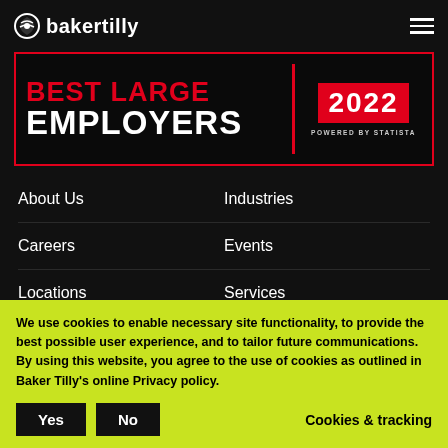bakertilly
[Figure (other): Best Large Employers 2022 Powered by Statista award badge]
About Us
Industries
Careers
Events
Locations
Services
We use cookies to enable necessary site functionality, to provide the best possible user experience, and to tailor future communications. By using this website, you agree to the use of cookies as outlined in Baker Tilly's online Privacy policy.
Yes   No   Cookies & tracking